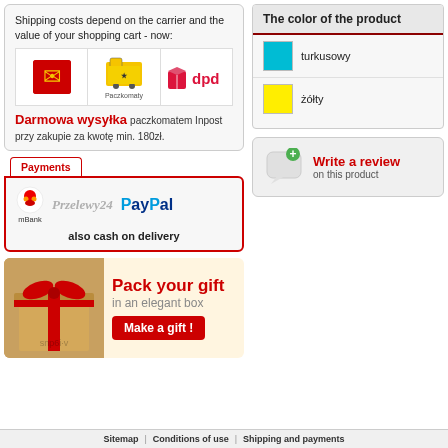Shipping costs depend on the carrier and the value of your shopping cart - now:
[Figure (infographic): Three carrier logos: Polish Post (red background with yellow horn), Paczkomaty (yellow delivery robot with Paczkomaty text), DPD (red parcel box with dpd text)]
Darmowa wysyłka paczkomatem Inpost
przy zakupie za kwotę min. 180zł.
Payments
[Figure (infographic): Payment logos: mBank, Przelewy24, PayPal]
also cash on delivery
[Figure (infographic): Gift box promotional banner: Pack your gift in an elegant box - Make a gift! button]
The color of the product
turkusowy
żółty
Write a review on this product
Sitemap | Conditions of use | Shipping and payments